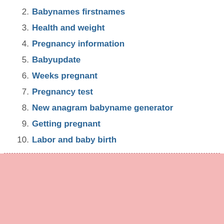2. Babynames firstnames
3. Health and weight
4. Pregnancy information
5. Babyupdate
6. Weeks pregnant
7. Pregnancy test
8. New anagram babyname generator
9. Getting pregnant
10. Labor and baby birth
[Figure (other): Pink background section at the bottom of the page]